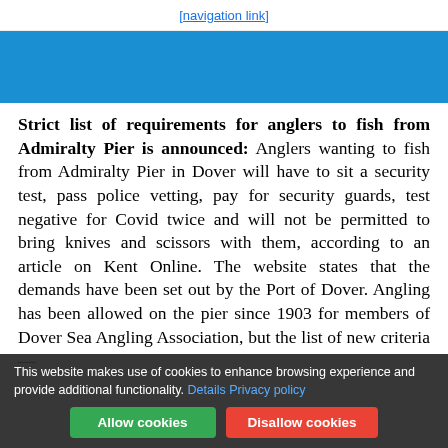[header link - partially visible]
[Figure (other): Blue banner/header bar]
Strict list of requirements for anglers to fish from Admiralty Pier is announced: Anglers wanting to fish from Admiralty Pier in Dover will have to sit a security test, pass police vetting, pay for security guards, test negative for Covid twice and will not be permitted to bring knives and scissors with them, according to an article on Kent Online. The website states that the demands have been set out by the Port of Dover. Angling has been allowed on the pier since 1903 for members of Dover Sea Angling Association, but the list of new criteria — especially their impact on safety gear —
This website makes use of cookies to enhance browsing experience and provide additional functionality. Details Privacy policy [Allow cookies] [Disallow cookies]